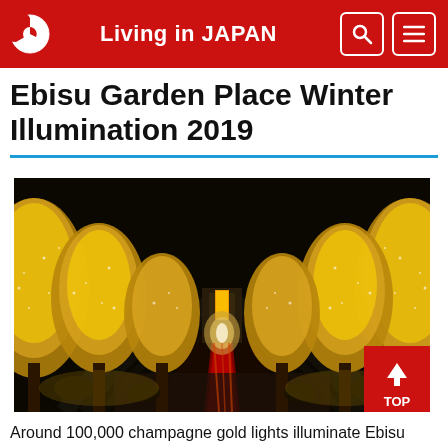Living in JAPAN
Ebisu Garden Place Winter Illumination 2019
[Figure (photo): Night photo of Ebisu Garden Place illumination showing a tree-lined avenue with golden champagne lights on trees, a red carpet walkway leading to a central statue/building, set against a dark night sky with a large arched glass structure overhead.]
Around 100,000 champagne gold lights illuminate Ebisu